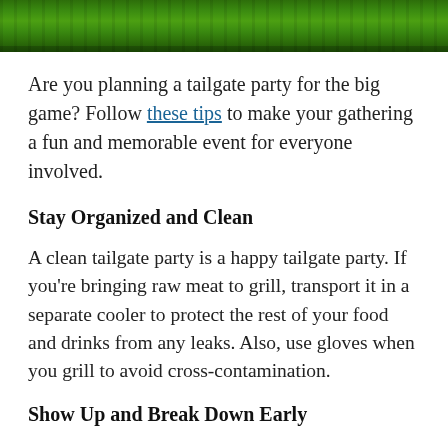[Figure (photo): Green grass field photo at the top of the page]
Are you planning a tailgate party for the big game? Follow these tips to make your gathering a fun and memorable event for everyone involved.
Stay Organized and Clean
A clean tailgate party is a happy tailgate party. If you're bringing raw meat to grill, transport it in a separate cooler to protect the rest of your food and drinks from any leaks. Also, use gloves when you grill to avoid cross-contamination.
Show Up and Break Down Early